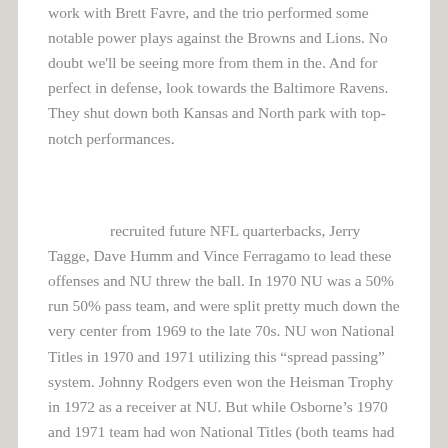work with Brett Favre, and the trio performed some notable power plays against the Browns and Lions. No doubt we'll be seeing more from them in the. And for perfect in defense, look towards the Baltimore Ravens. They shut down both Kansas and North park with top-notch performances.
recruited future NFL quarterbacks, Jerry Tagge, Dave Humm and Vince Ferragamo to lead these offenses and NU threw the ball. In 1970 NU was a 50% run 50% pass team, and were split pretty much down the very center from 1969 to the late 70s. NU won National Titles in 1970 and 1971 utilizing this “spread passing” system. Johnny Rodgers even won the Heisman Trophy in 1972 as a receiver at NU. But while Osborne’s 1970 and 1971 team had won National Titles (both teams had